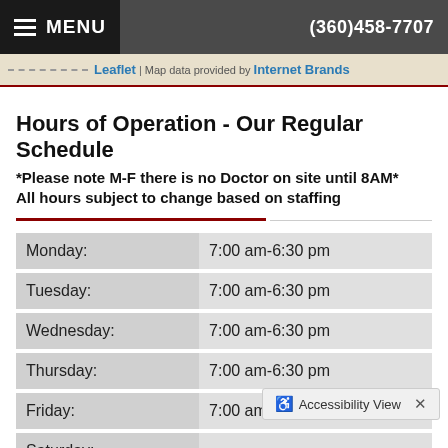MENU  (360)458-7707
Leaflet | Map data provided by Internet Brands
Hours of Operation - Our Regular Schedule
*Please note M-F there is no Doctor on site until 8AM* All hours subject to change based on staffing
| Day | Hours |
| --- | --- |
| Monday: | 7:00 am-6:30 pm |
| Tuesday: | 7:00 am-6:30 pm |
| Wednesday: | 7:00 am-6:30 pm |
| Thursday: | 7:00 am-6:30 pm |
| Friday: | 7:00 am-6:30 pm |
| Saturday: |  |